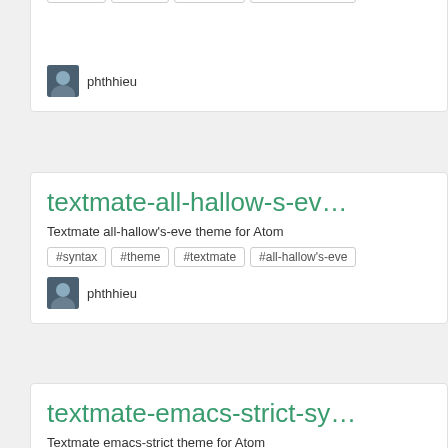[Figure (screenshot): Top partial card showing avatar and username phthhieu with tag badges partially visible at top]
phthhieu
textmate-all-hallow-s-ev…
Textmate all-hallow's-eve theme for Atom
#syntax
#theme
#textmate
#all-hallow's-eve
phthhieu
textmate-emacs-strict-sy…
Textmate emacs-strict theme for Atom
#syntax
#theme
#textmate
#emacs-strict
phthhieu
[Figure (screenshot): Bottom partial card beginning to appear]